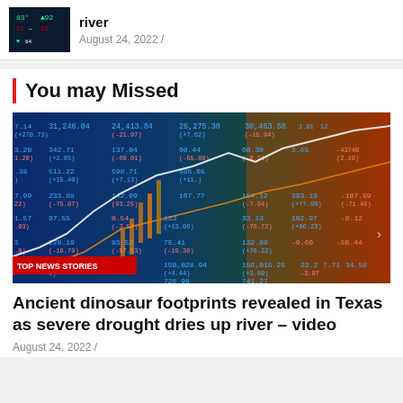[Figure (photo): Small thumbnail of stock market screen with green numbers]
river
August 24, 2022 /
You may Missed
[Figure (photo): Stock market trading screen showing numbers like 31,246.04 (+270.73), 24,413.84 (-21.97), 26,275.30 (+7.62), 30,463.58 (-15.94) and many other financial figures with colorful charts overlaid. Badge reads TOP NEWS STORIES.]
Ancient dinosaur footprints revealed in Texas as severe drought dries up river – video
August 24, 2022 /